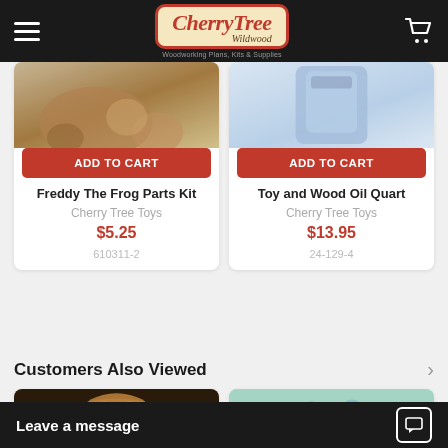Cherry Tree Wildwood — Woodworking Plans, Kits & Supplies
[Figure (photo): Freddy the Frog wooden parts kit product image (partial view of wooden toy pieces)]
ADD TO CART
Freddy The Frog Parts Kit
Cherry Tree Toys
$5.25
610311-2
[Figure (photo): Toy and Wood Oil Quart product image (blue container, partial view)]
ADD TO CART
Toy and Wood Oil Quart
Cherry Tree Toys
$13.95
24-129-4
Customers Also Viewed
[Figure (photo): Wooden frog toy product photo (brown wooden frog figurine)]
[Figure (photo): Colorful ornament or hanging decoration product photo]